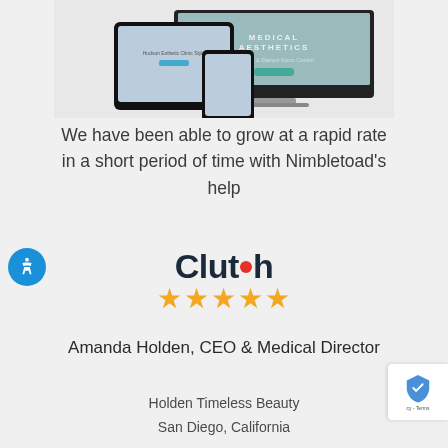[Figure (screenshot): Mockup of a medical aesthetics website shown on tablet, phone, and desktop screens]
We have been able to grow at a rapid rate in a short period of time with Nimbletoad’s help
[Figure (logo): Clutch logo with five gold stars rating]
Amanda Holden, CEO & Medical Director
Holden Timeless Beauty
San Diego, California